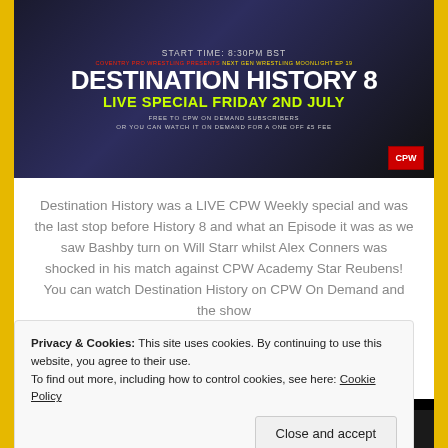[Figure (illustration): Promotional banner for Destination History 8 wrestling event. Text reads: START TIME: 8:30PM BST / COVENTRY PRO WRESTLING PRESENTS NEXT GEN WRESTLING MOONLIGHT EP19 / DESTINATION HISTORY 8 / LIVE SPECIAL FRIDAY 2ND JULY / FREE TO CPW ON DEMAND SUBSCRIBERS / OR YOU CAN WATCH IT ON DEMAND FOR A ONE OFF £5 FEE. CPW logo in red bottom right.]
Destination History was a LIVE CPW Weekly special and was the last stop before History 8 and what an Episode it was as we saw Bashby turn on Will Starr whilst Alex Conners was shocked in his match against CPW Academy Star Reubens! You can watch Destination History on CPW On Demand and the show
Read More
Privacy & Cookies: This site uses cookies. By continuing to use this website, you agree to their use.
To find out more, including how to control cookies, see here: Cookie Policy
Close and accept
rent